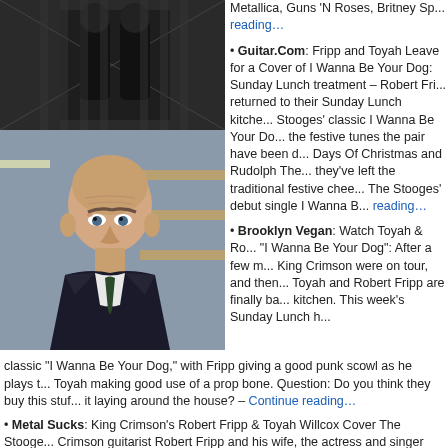[Figure (photo): Top photo: dark image, appears to show a person in dark clothing]
[Figure (photo): Bottom photo: older bald man in suit and tie, looking stern, in a kitchen]
Guitar.Com: Fripp and Toyah Leave for a Cover of I Wanna Be Your Dog: Sunday Lunch treatment – Robert Fri... returned to their Sunday Lunch kitche... Stooges' classic I Wanna Be Your Do... the festive tunes the pair have been d... Days Of Christmas and Rudolph The... they've left the traditional festive chee... The Stooges' debut single I Wanna B... Continue reading...
Brooklyn Vegan: Watch Toyah & Ro... "I Wanna Be Your Dog": After a few m... King Crimson were on tour, and then... Toyah and Robert Fripp are finally ba... kitchen. This week's Sunday Lunch h... classic "I Wanna Be Your Dog," with Fripp giving a good punk scowl as he plays t... Toyah making good use of a prop bone. Question: Do you think they buy this stuf... it laying around the house? – Continue reading...
Metal Sucks: King Crimson's Robert Fripp & Toyah Willcox Cover The Stooge... Crimson guitarist Robert Fripp and his wife, the actress and singer Toyah Willcox... in their "Sunday Lunch" series of cover videos that have captured the Internet's a... their newest video, the couple have switched back to the tried-and-true formula o... singing following the karaoke-like format they've utilized of late for some Christm...